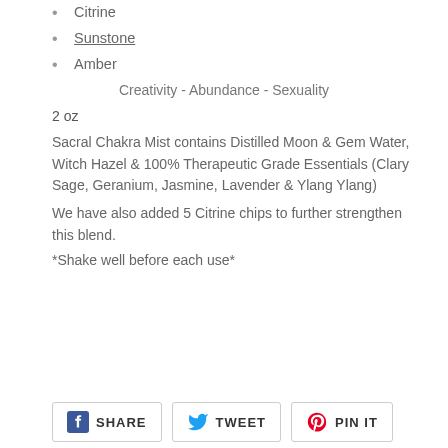Citrine
Sunstone
Amber
Creativity - Abundance - Sexuality
2 oz
Sacral Chakra Mist contains Distilled Moon & Gem Water, Witch Hazel & 100% Therapeutic Grade Essentials (Clary Sage, Geranium, Jasmine, Lavender & Ylang Ylang)
We have also added 5 Citrine chips to further strengthen this blend.
*Shake well before each use*